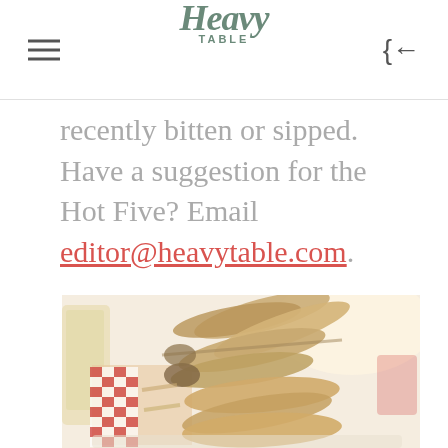Heavy Table
recently bitten or sipped. Have a suggestion for the Hot Five? Email editor@heavytable.com.
[Figure (photo): A basket of corn dogs or sausages in a red and white checkered paper basket, with a drink visible on the left side, photographed at a food stall or restaurant.]